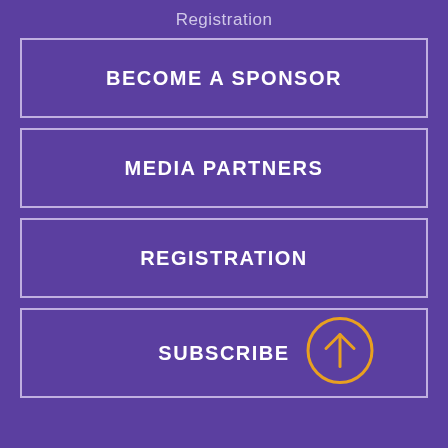Registration
BECOME A SPONSOR
MEDIA PARTNERS
REGISTRATION
SUBSCRIBE